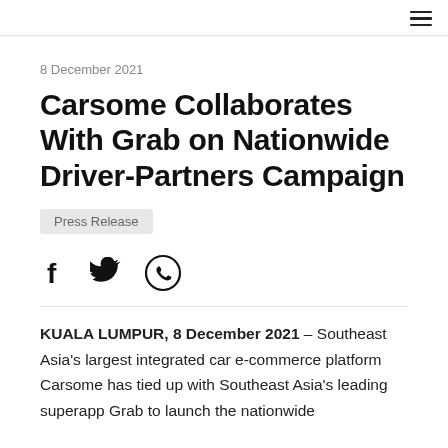☰
8 December 2021
Carsome Collaborates With Grab on Nationwide Driver-Partners Campaign
Press Release
[Figure (other): Social sharing icons: Facebook, Twitter, WhatsApp]
KUALA LUMPUR, 8 December 2021 – Southeast Asia's largest integrated car e-commerce platform Carsome has tied up with Southeast Asia's leading superapp Grab to launch the nationwide